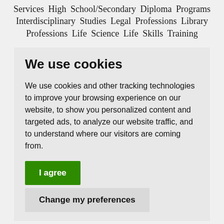Services High School/Secondary Diploma Programs Interdisciplinary Studies Legal Professions Library Professions Life Science Life Skills Training
We use cookies
We use cookies and other tracking technologies to improve your browsing experience on our website, to show you personalized content and targeted ads, to analyze our website traffic, and to understand where our visitors are coming from.
I agree
Change my preferences